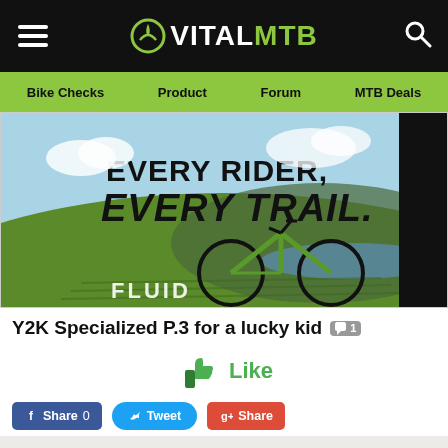VITALMTB
[Figure (other): Navigation bar with links: Bike Checks, Product, Forum, MTB Deals on green background]
[Figure (photo): Norco Fluid bike advertisement: mountain bike on a green hillside with text 'EVERY RIDER, EVERY TRAIL.' and NORCO branding on the right side, FLUID text at bottom left]
Y2K Specialized P.3 for a lucky kid
[Figure (other): Like button with green thumbs-up icon and 'Like' text]
[Figure (other): Social share buttons: Facebook Share 0, Tweet, Google+ Share]
[Figure (photo): Bottom partial image strip showing white fabric/paper with pink/red markings]